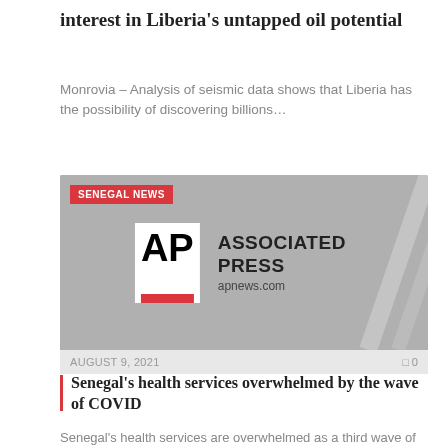interest in Liberia's untapped oil potential
Monrovia – Analysis of seismic data shows that Liberia has the possibility of discovering billions…
[Figure (screenshot): Associated Press news card thumbnail with SENEGAL NEWS badge, AP logo with white square and red bar, ASSOCIATED PRESS brand name, apnews.com URL, gray background with diagonal decorative lines]
AUGUST 9, 2021   0 0
Senegal's health services overwhelmed by the wave of COVID
Senegal's health services are overwhelmed as a third wave of